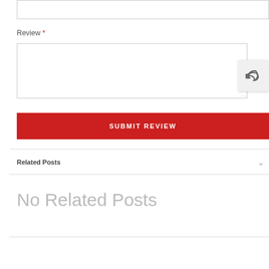[Figure (screenshot): Input text box at top of page, partially visible]
Review *
[Figure (screenshot): Review textarea input field with resize handle and reply button overlay]
[Figure (screenshot): SUBMIT REVIEW button in red]
Related Posts
No Related Posts